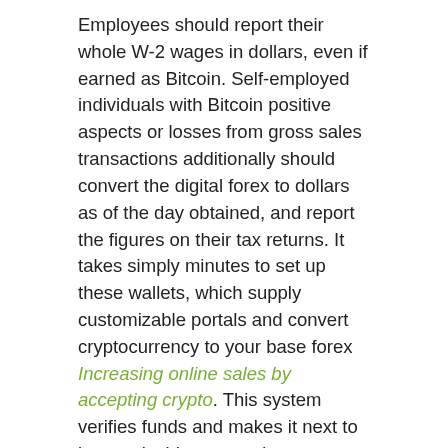Employees should report their whole W-2 wages in dollars, even if earned as Bitcoin. Self-employed individuals with Bitcoin positive aspects or losses from gross sales transactions additionally should convert the digital forex to dollars as of the day obtained, and report the figures on their tax returns. It takes simply minutes to set up these wallets, which supply customizable portals and convert cryptocurrency to your base forex Increasing online sales by accepting crypto. This system verifies funds and makes it next to inconceivable to spend greater than you personal. When paying with cryptocurrencies, each events need to approve each transaction. As a outcome, there are not any disputes to worry about and chargebacks will now not happen.
They are additionally an ICANN accredited registrar that offers domains with different types of hosting including WordPress hosting, VPS hosting, and reseller hosting. Aeguana launched a brand new vending machine that accepts bitcoin along with different cost strategies. BitGive was based in 2013 and works along with native and worldwide charities to improve public well being and environment protection efforts. This is likely one of the first cryptocurrencies in the world being present digital forex in...